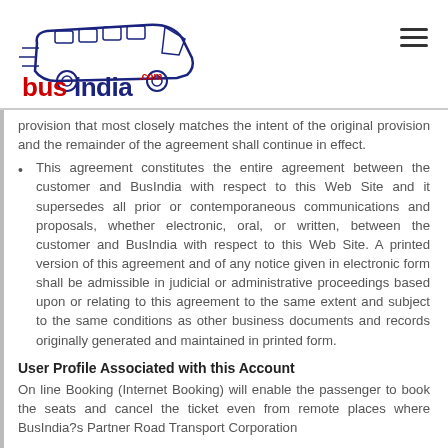BusIndia.com logo and navigation
provision that most closely matches the intent of the original provision and the remainder of the agreement shall continue in effect.
This agreement constitutes the entire agreement between the customer and BusIndia with respect to this Web Site and it supersedes all prior or contemporaneous communications and proposals, whether electronic, oral, or written, between the customer and BusIndia with respect to this Web Site. A printed version of this agreement and of any notice given in electronic form shall be admissible in judicial or administrative proceedings based upon or relating to this agreement to the same extent and subject to the same conditions as other business documents and records originally generated and maintained in printed form.
User Profile Associated with this Account
On line Booking (Internet Booking) will enable the passenger to book the seats and cancel the ticket even from remote places where BusIndia?s Partner Road Transport Corporation